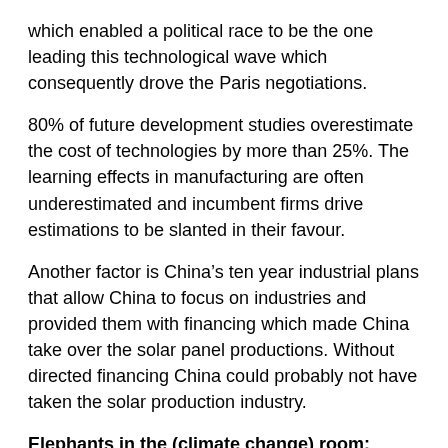which enabled a political race to be the one leading this technological wave which consequently drove the Paris negotiations.
80% of future development studies overestimate the cost of technologies by more than 25%. The learning effects in manufacturing are often underestimated and incumbent firms drive estimations to be slanted in their favour.
Another factor is China’s ten year industrial plans that allow China to focus on industries and provided them with financing which made China take over the solar panel productions. Without directed financing China could probably not have taken the solar production industry.
Elephants in the (climate change) room:
China and US coordinated their climate change policies which allowed the Paris agreement to be politically viable. Industry policy was a major issue. China wants to transform into a service economy, it doesn’t have the luxury like Europe to just letting